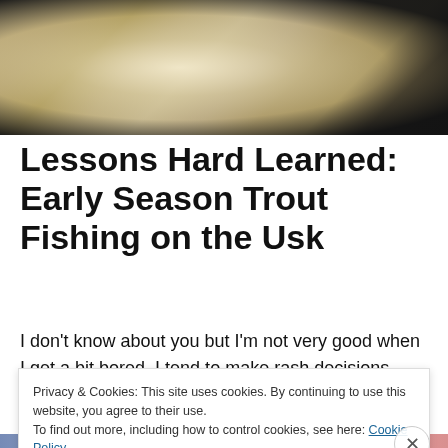[Figure (photo): Close-up photograph of a trout's scales/skin showing pearlescent texture with dark background on the right side]
Lessons Hard Learned: Early Season Trout Fishing on the Usk
I don't know about you but I'm not very good when I get a bit bored. I tend to make rash decisions, maybe not think
Privacy & Cookies: This site uses cookies. By continuing to use this website, you agree to their use.
To find out more, including how to control cookies, see here: Cookie Policy
Close and accept